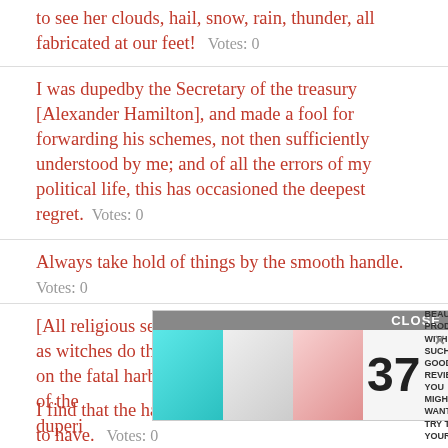to see her clouds, hail, snow, rain, thunder, all fabricated at our feet!   Votes: 0
I was dupedby the Secretary of the treasury [Alexander Hamilton], and made a fool for forwarding his schemes, not then sufficiently understood by me; and of all the errors of my political life, this has occasioned the deepest regret.   Votes: 0
Always take hold of things by the smooth handle.   Votes: 0
[All religious sects] dread the advance of science as witches do the approach of daylight; and scowl on the fatal harbinger announcing the subversion of the duperi...
[Figure (other): Advertisement overlay showing '37 Beauty Products With Such Good Reviews You Might Want To Try Them Yourself' with a CLOSE button and 22Words logo]
I find that the harder I work, the more luck I seem to have.   Votes: 0